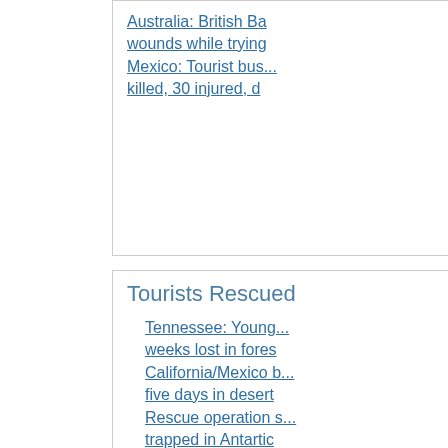Australia: British Ba... wounds while trying...
Mexico: Tourist bus... killed, 30 injured, d...
Tourists Rescued
Tennessee: Young... weeks lost in fores...
California/Mexico b... five days in desert...
Rescue operation s... trapped in Antartic...
Foreigners evacua... increasing factiona...
United States: Fam... in Nevada mountai...
Travel Aviation
Costa Rica: Tourist... Crash
International Airpo...